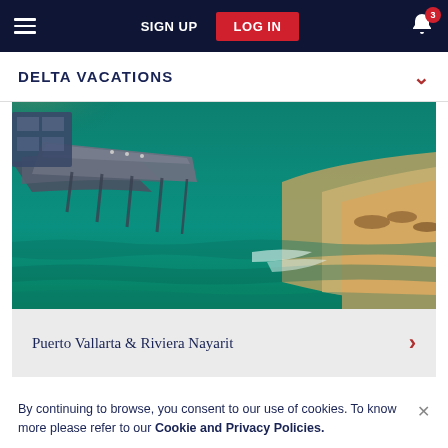SIGN UP  LOG IN  [notifications: 3]
DELTA VACATIONS
[Figure (photo): Aerial view of a pier/boardwalk extending over turquoise-green coastal water with sandy beach visible on the right side, likely Puerto Vallarta or Riviera Nayarit, Mexico.]
Puerto Vallarta & Riviera Nayarit
By continuing to browse, you consent to our use of cookies. To know more please refer to our Cookie and Privacy Policies.